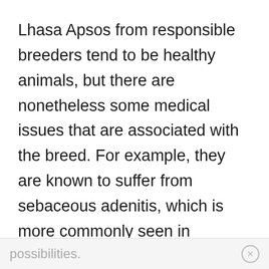Lhasa Apsos from responsible breeders tend to be healthy animals, but there are nonetheless some medical issues that are associated with the breed. For example, they are known to suffer from sebaceous adenitis, which is more commonly seen in poodles but can be seen in other breeds as well. Similarly, they are more prone to eye problems than other breeds, meaning that their owners need to watch out for such
possibilities.